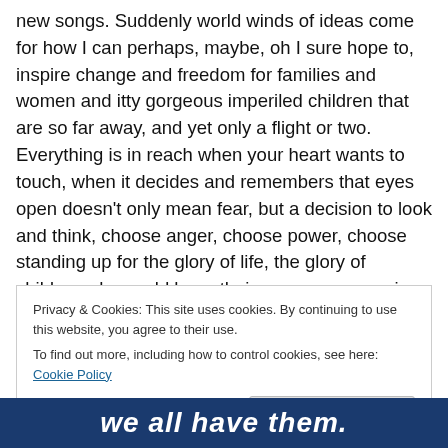new songs. Suddenly world winds of ideas come for how I can perhaps, maybe, oh I sure hope to, inspire change and freedom for families and women and itty gorgeous imperiled children that are so far away, and yet only a flight or two. Everything is in reach when your heart wants to touch, when it decides and remembers that eyes open doesn't only mean fear, but a decision to look and think, choose anger, choose power, choose standing up for the glory of life, the glory of children who could have their own songs growing up.
Privacy & Cookies: This site uses cookies. By continuing to use this website, you agree to their use.
To find out more, including how to control cookies, see here: Cookie Policy
Close and accept
[Figure (other): Partial view of a dark blue image with white bold italic text reading 'we all have them.']